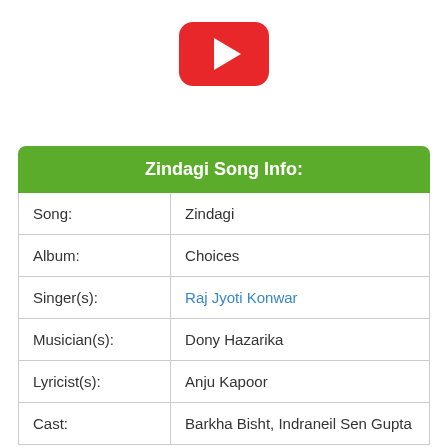[Figure (logo): YouTube play button logo — red rounded rectangle with white triangle play icon]
| Zindagi Song Info: |
| --- |
| Song: | Zindagi |
| Album: | Choices |
| Singer(s): | Raj Jyoti Konwar |
| Musician(s): | Dony Hazarika |
| Lyricist(s): | Anju Kapoor |
| Cast: | Barkha Bisht, Indraneil Sen Gupta |